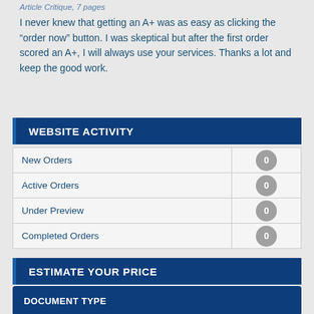Article Critique, 7 pages
I never knew that getting an A+ was as easy as clicking the “order now” button. I was skeptical but after the first order scored an A+, I will always use your services. Thanks a lot and keep the good work.
WEBSITE ACTIVITY
|  |  |
| --- | --- |
| New Orders | 0 |
| Active Orders | 0 |
| Under Preview | 0 |
| Completed Orders | 0 |
ESTIMATE YOUR PRICE
Document Type